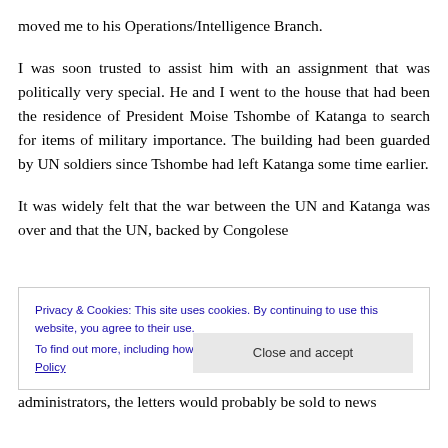moved me to his Operations/Intelligence Branch.
I was soon trusted to assist him with an assignment that was politically very special. He and I went to the house that had been the residence of President Moise Tshombe of Katanga to search for items of military importance. The building had been guarded by UN soldiers since Tshombe had left Katanga some time earlier.
It was widely felt that the war between the UN and Katanga was over and that the UN, backed by Congolese
Privacy & Cookies: This site uses cookies. By continuing to use this website, you agree to their use. To find out more, including how to control cookies, see here: Cookie Policy
administrators, the letters would probably be sold to news